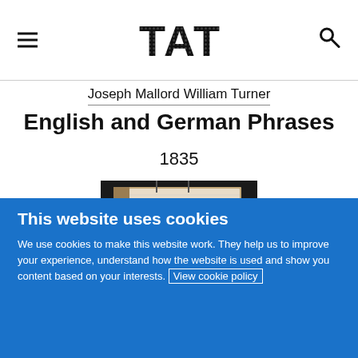Tate website header with hamburger menu, Tate logo, and search icon
Joseph Mallord William Turner
English and German Phrases
1835
[Figure (photo): Photograph of a sketchbook or small book viewed from the spine/top, showing pages and cover against a dark background]
This website uses cookies
We use cookies to make this website work. They help us to improve your experience, understand how the website is used and show you content based on your interests. View cookie policy